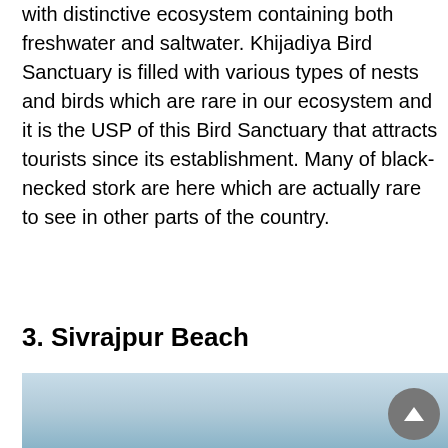with distinctive ecosystem containing both freshwater and saltwater. Khijadiya Bird Sanctuary is filled with various types of nests and birds which are rare in our ecosystem and it is the USP of this Bird Sanctuary that attracts tourists since its establishment. Many of black-necked stork are here which are actually rare to see in other parts of the country.
3. Sivrajpur Beach
[Figure (photo): Partial view of Sivrajpur Beach showing a light blue sky and water, with a dark grey circular scroll-to-top button with an upward triangle arrow in the bottom-right corner.]